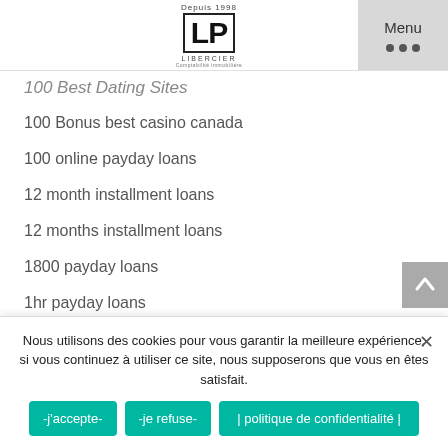[Figure (logo): LP Libercier logo with bracket design and 'Depuis 1998' text]
100 Best Dating Sites
100 Bonus best casino canada
100 online payday loans
12 month installment loans
12 months installment loans
1800 payday loans
1hr payday loans
1stclassdating-main asian dating
1xslots-casino-online.com PBN
Nous utilisons des cookies pour vous garantir la meilleure expérience, si vous continuez à utiliser ce site, nous supposerons que vous en êtes satisfait.
-j'accepte-
-je refuse-
| politique de confidentialité |